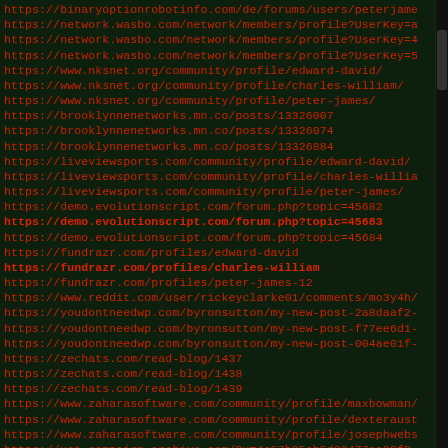https://binaryoptionrobotinfo.com/de/forums/users/peterjame
https://network.wasbo.com/network/members/profile?UserKey=a
https://network.wasbo.com/network/members/profile?UserKey=4
https://network.wasbo.com/network/members/profile?UserKey=5
https://www.nksnet.org/community/profile/edward-david/
https://www.nksnet.org/community/profile/charles-william/
https://www.nksnet.org/community/profile/peter-james/
https://brooklynnenetworks.mn.co/posts/13326007
https://brooklynnenetworks.mn.co/posts/13326074
https://brooklynnenetworks.mn.co/posts/13326884
https://liveviewsports.com/community/profile/edward-david/
https://liveviewsports.com/community/profile/charles-willia
https://liveviewsports.com/community/profile/peter-james/
https://demo.evolutionscript.com/forum.php?topic=45682
https://demo.evolutionscript.com/forum.php?topic=45683
https://demo.evolutionscript.com/forum.php?topic=45684
https://fundrazr.com/profiles/edward-david
https://fundrazr.com/profiles/charles-william
https://fundrazr.com/profiles/peter-james-12
https://www.reddit.com/user/rickeyclarke01/comments/mo3y4h/
https://youdontneedwp.com/byronsutton/my-new-post-2a8daaf2-
https://youdontneedwp.com/byronsutton/my-new-post-f77ee6d1-
https://youdontneedwp.com/byronsutton/my-new-post-004ae01f-
https://zechats.com/read-blog/1437
https://zechats.com/read-blog/1438
https://zechats.com/read-blog/1439
https://www.zaharasoftware.com/community/profile/maxbowman/
https://www.zaharasoftware.com/community/profile/dexteraust
https://www.zaharasoftware.com/community/profile/josephwebs
https://us1.campaign-archive.com/?u=4e57b25eb5d20477ea03f3